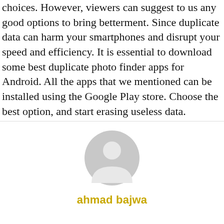choices. However, viewers can suggest to us any good options to bring betterment. Since duplicate data can harm your smartphones and disrupt your speed and efficiency. It is essential to download some best duplicate photo finder apps for Android. All the apps that we mentioned can be installed using the Google Play store. Choose the best option, and start erasing useless data.
[Figure (illustration): Generic user avatar icon (grey silhouette of a person in a circle) above the author name 'ahmad bajwa']
ahmad bajwa